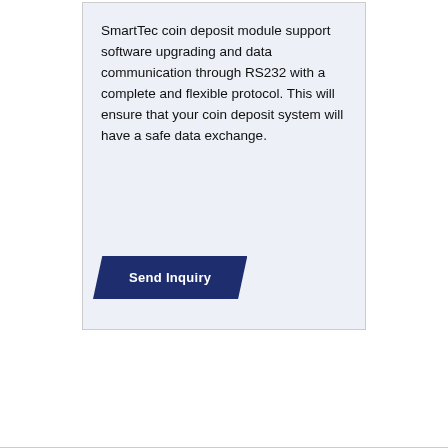SmartTec coin deposit module support software upgrading and data communication through RS232 with a complete and flexible protocol. This will ensure that your coin deposit system will have a safe data exchange.
[Figure (other): Dark navy blue parallelogram-shaped button with white bold text reading 'Send Inquiry']